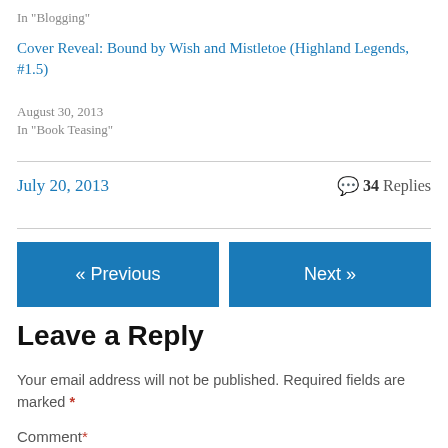In "Blogging"
Cover Reveal: Bound by Wish and Mistletoe (Highland Legends, #1.5)
August 30, 2013
In "Book Teasing"
July 20, 2013   💬 34 Replies
« Previous
Next »
Leave a Reply
Your email address will not be published. Required fields are marked *
Comment *